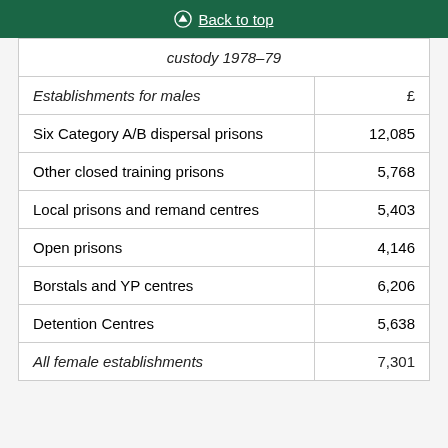Back to top
| custody 1978–79 | £ |
| --- | --- |
| Establishments for males | £ |
| Six Category A/B dispersal prisons | 12,085 |
| Other closed training prisons | 5,768 |
| Local prisons and remand centres | 5,403 |
| Open prisons | 4,146 |
| Borstals and YP centres | 6,206 |
| Detention Centres | 5,638 |
| All female establishments | 7,301 |